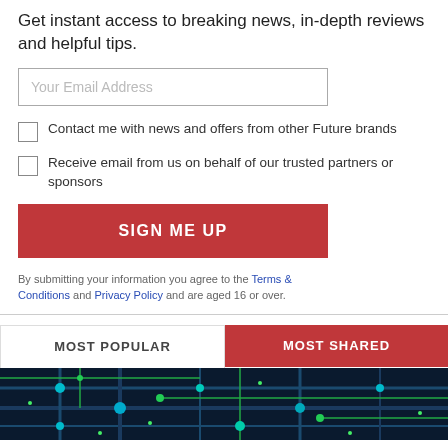Get instant access to breaking news, in-depth reviews and helpful tips.
Your Email Address
Contact me with news and offers from other Future brands
Receive email from us on behalf of our trusted partners or sponsors
SIGN ME UP
By submitting your information you agree to the Terms & Conditions and Privacy Policy and are aged 16 or over.
MOST POPULAR
MOST SHARED
[Figure (photo): Circuit board with green and blue electronic components and traces]